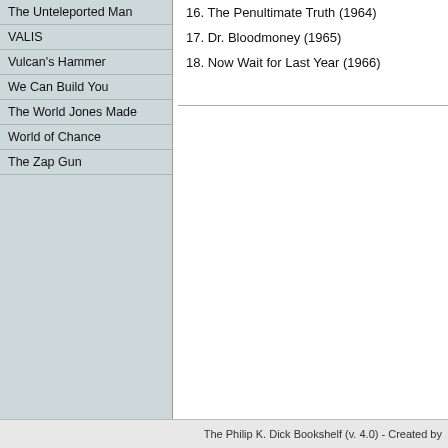The Unteleported Man
VALIS
Vulcan's Hammer
We Can Build You
The World Jones Made
World of Chance
The Zap Gun
16. The Penultimate Truth (1964)
17. Dr. Bloodmoney (1965)
18. Now Wait for Last Year (1966)
The Philip K. Dick Bookshelf (v. 4.0) - Created by